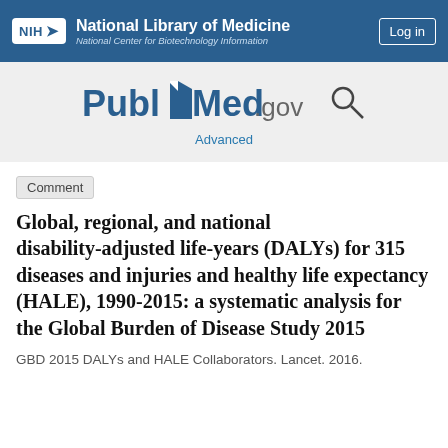NIH National Library of Medicine National Center for Biotechnology Information | Log in
[Figure (logo): PubMed.gov logo with search icon and Advanced link]
Comment
Global, regional, and national disability-adjusted life-years (DALYs) for 315 diseases and injuries and healthy life expectancy (HALE), 1990-2015: a systematic analysis for the Global Burden of Disease Study 2015
GBD 2015 DALYs and HALE Collaborators. Lancet. 2016.